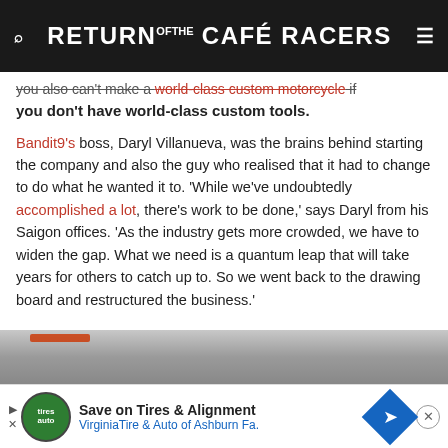RETURN OF THE CAFÉ RACERS
you also can't make a world-class custom motorcycle if you don't have world-class custom tools.
Bandit9's boss, Daryl Villanueva, was the brains behind starting the company and also the guy who realised that it had to change to do what he wanted it to. 'While we've undoubtedly accomplished a lot, there's work to be done,' says Daryl from his Saigon offices. 'As the industry gets more crowded, we have to widen the gap. What we need is a quantum leap that will take years for others to catch up to. So we went back to the drawing board and restructured the business.'
[Figure (photo): Partial view of a building or workshop exterior, gray tones]
[Figure (other): Advertisement banner: Save on Tires & Alignment - VirginiaTire & Auto of Ashburn Fa.]